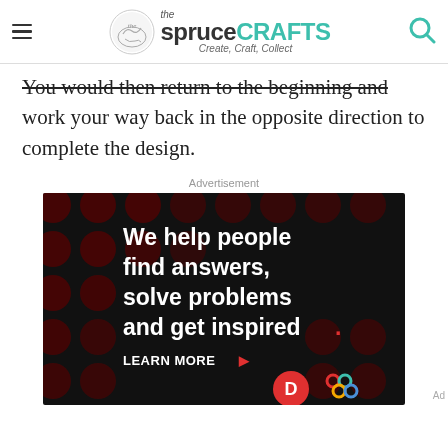the spruce CRAFTS — Create, Craft, Collect
You would then return to the beginning and work your way back in the opposite direction to complete the design.
Advertisement
[Figure (infographic): Dark advertisement banner with red polka dot pattern background. White bold text reads: 'We help people find answers, solve problems and get inspired.' with a red period. Below: 'LEARN MORE' with red arrow. Bottom right shows a red circle with white 'D' logo and a colorful knot/pretzel logo.]